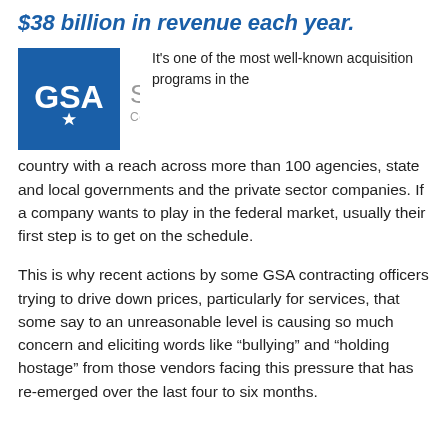$38 billion in revenue each year.
[Figure (logo): GSA Schedule Contract logo — blue square with GSA and star, next to 'Schedule Contract' in gray text]
It's one of the most well-known acquisition programs in the country with a reach across more than 100 agencies, state and local governments and the private sector companies. If a company wants to play in the federal market, usually their first step is to get on the schedule.
This is why recent actions by some GSA contracting officers trying to drive down prices, particularly for services, that some say to an unreasonable level is causing so much concern and eliciting words like “bullying” and “holding hostage” from those vendors facing this pressure that has re-emerged over the last four to six months.